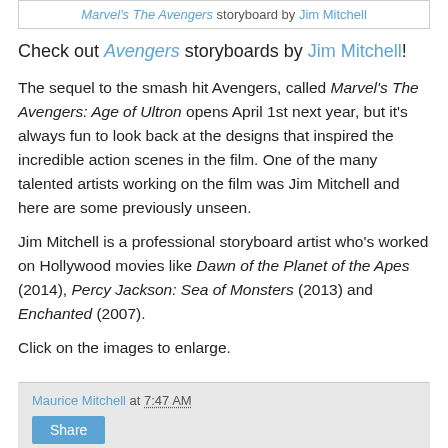Marvel's The Avengers storyboard by Jim Mitchell
Check out Avengers storyboards by Jim Mitchell!
The sequel to the smash hit Avengers, called Marvel's The Avengers: Age of Ultron opens April 1st next year, but it's always fun to look back at the designs that inspired the incredible action scenes in the film. One of the many talented artists working on the film was Jim Mitchell and here are some previously unseen.
Jim Mitchell is a professional storyboard artist who's worked on Hollywood movies like Dawn of the Planet of the Apes (2014), Percy Jackson: Sea of Monsters (2013) and Enchanted (2007).
Click on the images to enlarge.
Maurice Mitchell at 7:47 AM